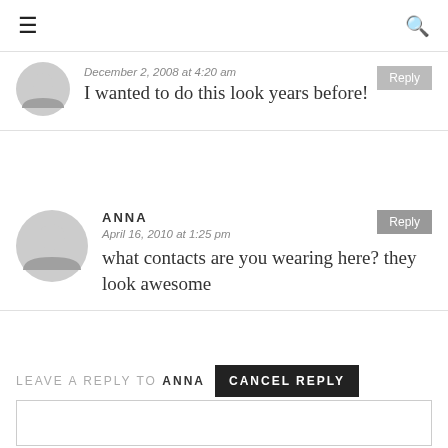≡  🔍
December 2, 2008 at 4:20 am
I wanted to do this look years before!
ANNA
April 16, 2010 at 1:25 pm
what contacts are you wearing here? they look awesome
LEAVE A REPLY TO ANNA  CANCEL REPLY